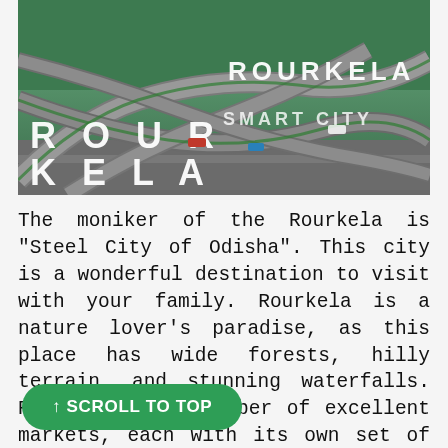[Figure (photo): Aerial photo of a complex highway interchange with multiple flyovers and ramps, overlaid with large white text reading 'ROURKELA' on the left and 'ROURKELA SMART CITY' on the right.]
The moniker of the Rourkela is "Steel City of Odisha". This city is a wonderful destination to visit with your family. Rourkela is a nature lover's paradise, as this place has wide forests, hilly terrain, and stunning waterfalls. Rourkela has a number of excellent markets, each with its own set of products. Ambagan market, VIP market, and Supermarket are top marketplaces to visit for locals
↑ SCROLL TO TOP